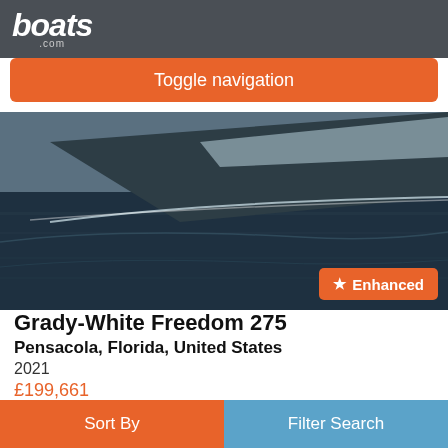boats.com
Toggle navigation
[Figure (photo): Aerial or side view of a motorboat bow skimming over dark water with a wake, showing the hull in silver/white against dark blue-gray water.]
Enhanced
Grady-White Freedom 275
Pensacola, Florida, United States
2021
£199,661
(Sale Pending)
"HELM MASTER JOYSTICK" BRUNSWICK PREMIER PRODUCT PROTECTION EXTENDED WARRANTY 8-YEARS" "VANTAGE PROTECTION - DIAMOND CERAMIC COATED" 2021 Grady White 275 Freedom "SEAPORT BLUE" with Twin Yamaha 200 HP engines "ONLY 49 HOURS" and comes with tandem axle aluminum trailer. This 2021 Grady
Sort By
Filter Search